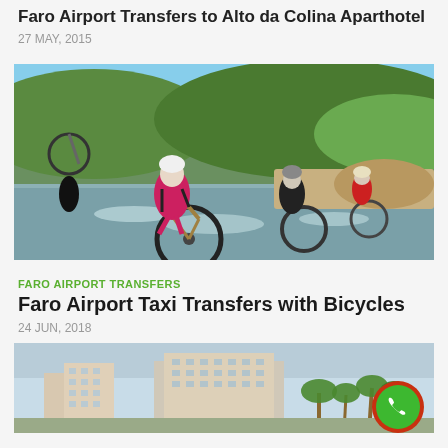Faro Airport Transfers to Alto da Colina Aparthotel
27 MAY, 2015
[Figure (photo): Mountain bikers riding through a river crossing, with green hills in background]
FARO AIRPORT TRANSFERS
Faro Airport Taxi Transfers with Bicycles
24 JUN, 2018
[Figure (photo): Coastal town with hotel buildings and palm trees, with a green phone call button overlay]